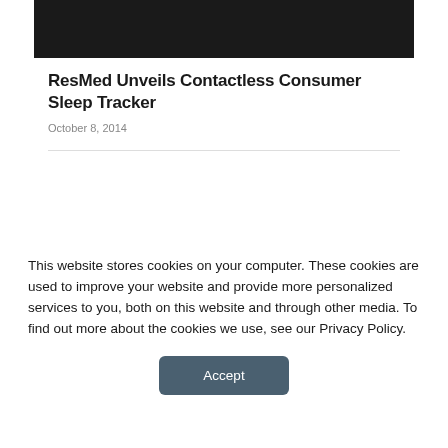[Figure (photo): Dark/black image at the top of the page, partial view of a product or scene]
ResMed Unveils Contactless Consumer Sleep Tracker
October 8, 2014
UPCOMING EVENTS
This website stores cookies on your computer. These cookies are used to improve your website and provide more personalized services to you, both on this website and through other media. To find out more about the cookies we use, see our Privacy Policy.
Accept